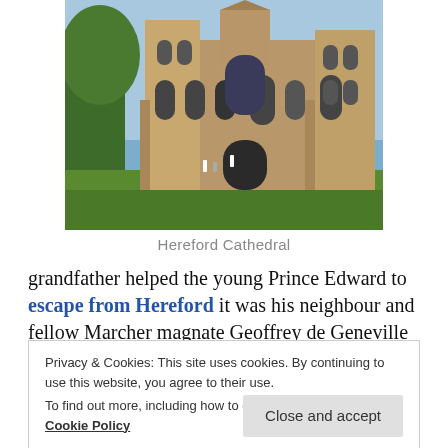[Figure (photo): Photograph of Hereford Cathedral exterior, showing Gothic architecture with arched windows and towers, green lawn in foreground, blue sky background.]
Hereford Cathedral
grandfather helped the young Prince Edward to escape from Hereford it was his neighbour and fellow Marcher magnate Geoffrey de Geneville who sheltered the prince in Ludlow Castle. De Geneville
Privacy & Cookies: This site uses cookies. By continuing to use this website, you agree to their use.
To find out more, including how to control cookies, see here:
Cookie Policy
Young Roger's relatives fought for both Edward I